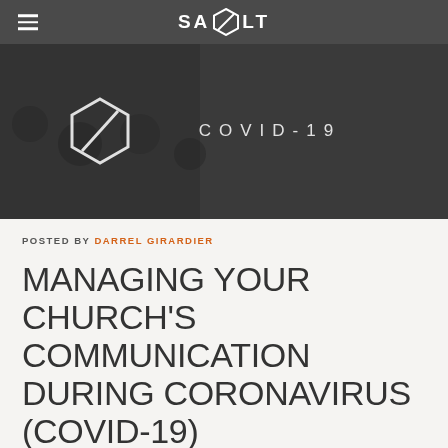SA LT
[Figure (photo): Dark background hero image with COVID-19 text and SALT logo overlay]
POSTED BY DARREL GIRARDIER
MANAGING YOUR CHURCH'S COMMUNICATION DURING CORONAVIRUS (COVID-19)